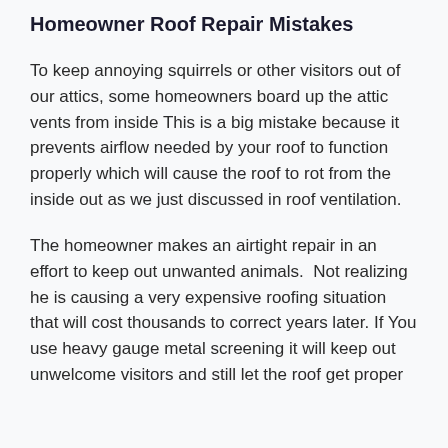Homeowner Roof Repair Mistakes
To keep annoying squirrels or other visitors out of our attics, some homeowners board up the attic vents from inside This is a big mistake because it prevents airflow needed by your roof to function properly which will cause the roof to rot from the inside out as we just discussed in roof ventilation.
The homeowner makes an airtight repair in an effort to keep out unwanted animals.  Not realizing he is causing a very expensive roofing situation that will cost thousands to correct years later. If You use heavy gauge metal screening it will keep out unwelcome visitors and still let the roof get proper